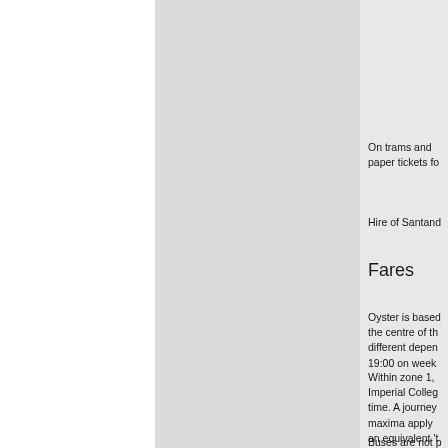On trams and paper tickets fo
Hire of Santand
Fares
Oyster is based the centre of th different deper 19:00 on week
Within zone 1, Imperial Colleg time. A journey maxima apply an equivalent 't
Buses are not p